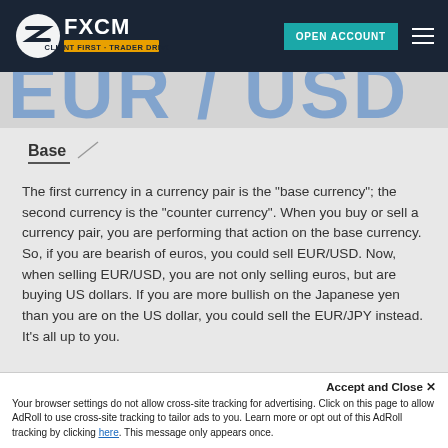FXCM — CLIENT FIRST · TRADER DRIVEN | OPEN ACCOUNT
EUR / USD
Base
The first currency in a currency pair is the "base currency"; the second currency is the "counter currency". When you buy or sell a currency pair, you are performing that action on the base currency. So, if you are bearish of euros, you could sell EUR/USD. Now, when selling EUR/USD, you are not only selling euros, but are buying US dollars. If you are more bullish on the Japanese yen than you are on the US dollar, you could sell the EUR/JPY instead. It's all up to you.
Accept and Close ✕
Your browser settings do not allow cross-site tracking for advertising. Click on this page to allow AdRoll to use cross-site tracking to tailor ads to you. Learn more or opt out of this AdRoll tracking by clicking here. This message only appears once.